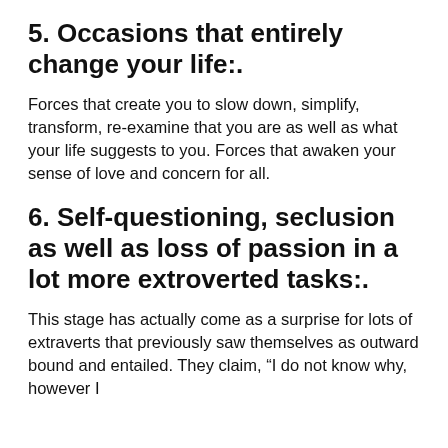5. Occasions that entirely change your life:.
Forces that create you to slow down, simplify, transform, re-examine that you are as well as what your life suggests to you. Forces that awaken your sense of love and concern for all.
6. Self-questioning, seclusion as well as loss of passion in a lot more extroverted tasks:.
This stage has actually come as a surprise for lots of extraverts that previously saw themselves as outward bound and entailed. They claim, “I do not know why, however I